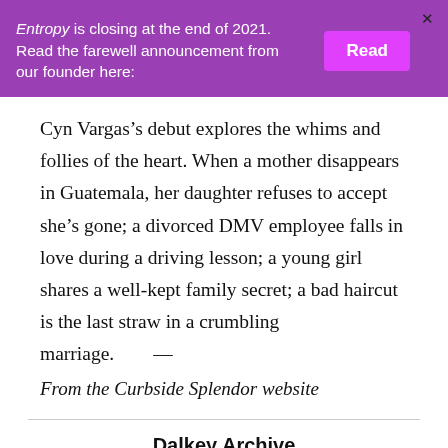Entropy is closing at the end of 2021. Read the farewell announcement from our founder here:
Cyn Vargas’s debut explores the whims and follies of the heart. When a mother disappears in Guatemala, her daughter refuses to accept she’s gone; a divorced DMV employee falls in love during a driving lesson; a young girl shares a well-kept family secret; a bad haircut is the last straw in a crumbling marriage. —
From the Curbside Splendor website
Dalkey Archive